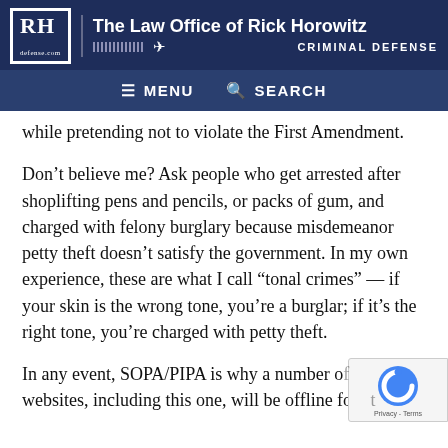The Law Office of Rick Horowitz | CRIMINAL DEFENSE | defense.com
MENU | SEARCH
while pretending not to violate the First Amendment.
Don’t believe me? Ask people who get arrested after shoplifting pens and pencils, or packs of gum, and charged with felony burglary because misdemeanor petty theft doesn’t satisfy the government. In my own experience, these are what I call “tonal crimes” — if your skin is the wrong tone, you’re a burglar; if it’s the right tone, you’re charged with petty theft.
In any event, SOPA/PIPA is why a number of websites, including this one, will be offline for a